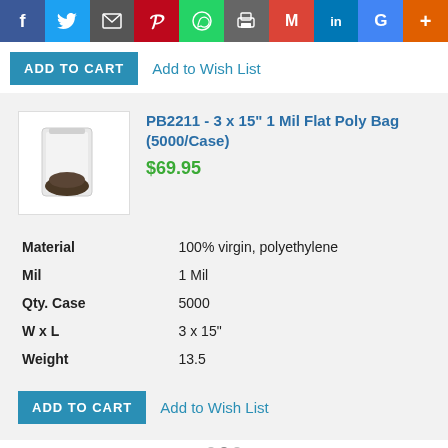[Figure (infographic): Social sharing bar with icons for Facebook, Twitter, Email, Pinterest, WhatsApp, Print, Gmail, LinkedIn, Google, and a plus button]
ADD TO CART   Add to Wish List
[Figure (photo): Small product image of a flat poly bag (clear plastic bag with some items inside)]
PB2211 - 3 x 15" 1 Mil Flat Poly Bag (5000/Case)
$69.95
| Material | 100% virgin, polyethylene |
| Mil | 1 Mil |
| Qty. Case | 5000 |
| W x L | 3 x 15" |
| Weight | 13.5 |
ADD TO CART   Add to Wish List